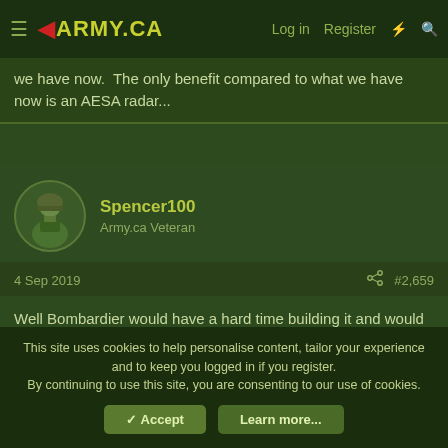ARMY.CA | Log in | Register
we have now.  The only benefit compared to what we have now is an AESA radar...
Spencer100
Army.ca Veteran
4 Sep 2019  #2,659
Well Bombardier would have a hard time building it and would not have the ability.  There is that.

CRJ to Mitsu
Dash 8 to Longview (Viking)
Water bombers and Twin Otter to Viking plus the Dash 1-7 too
This site uses cookies to help personalise content, tailor your experience and to keep you logged in if you register.
By continuing to use this site, you are consenting to our use of cookies.
Accept  Learn more...